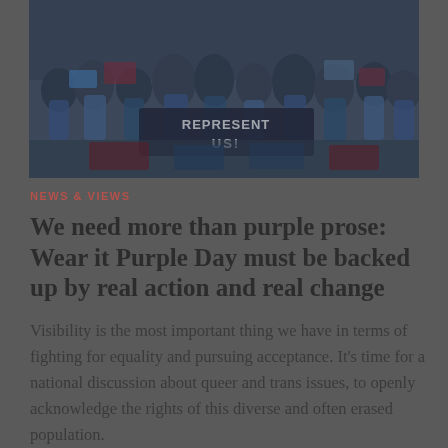[Figure (photo): A crowd of people at a protest or rally, holding banners and signs. One large sign reads 'REPRESENT US!' in bold white letters. The image has a dark overlay giving it a muted tone.]
NEWS & VIEWS
We need more than purple prose: Wear it Purple Day must be backed up by real action and real change
Visibility is the most important thing we have in terms of fighting for equality and pursuing acceptance. It's time for a national discussion about queer and trans issues, to openly acknowledge the rights of this diverse and often erased population.